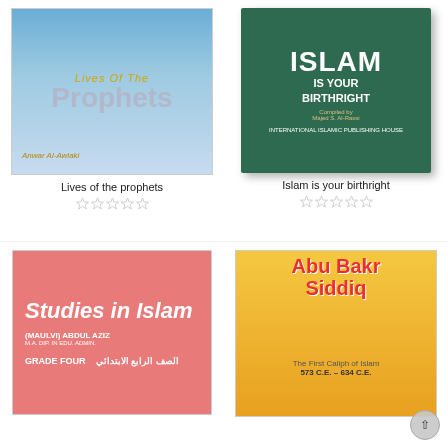[Figure (photo): Book cover: Lives of the Prophets by Anwar Al-Awlaki, with blue background and ancient scroll imagery]
Lives of the prophets
[Figure (photo): Book cover: Islam Is Your Birthright, dark green cover with white bold text, compiled by Majed S. Al-Rassi]
Islam is your birthright
[Figure (photo): Book cover: Studies in Islam, pink/red background, by (Maulvi) Abdul Aziz, Grade Four]
[Figure (photo): Book cover: Abu Bakr Siddiq, The First Caliph of Islam, 573 C.E. - 634 C.E., yellow/orange background with cartoon illustration]